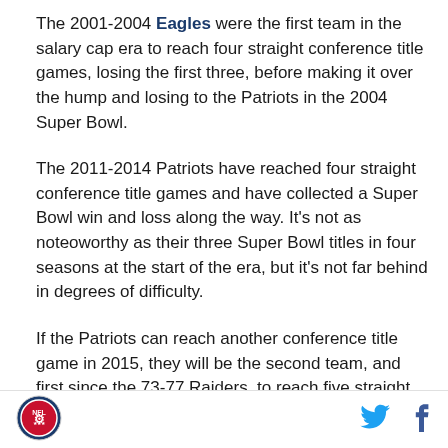The 2001-2004 Eagles were the first team in the salary cap era to reach four straight conference title games, losing the first three, before making it over the hump and losing to the Patriots in the 2004 Super Bowl.
The 2011-2014 Patriots have reached four straight conference title games and have collected a Super Bowl win and loss along the way. It's not as noteoworthy as their three Super Bowl titles in four seasons at the start of the era, but it's not far behind in degrees of difficulty.
If the Patriots can reach another conference title game in 2015, they will be the second team, and first since the 73-77 Raiders, to reach five straight. New England
[Figure (logo): Circular sports team logo in bottom left footer]
[Figure (logo): Twitter bird icon in bottom right footer]
[Figure (logo): Facebook 'f' icon in bottom right footer]